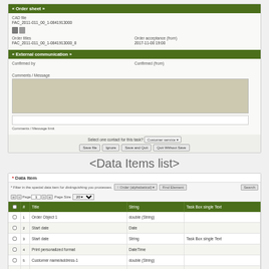« Order sheet »
CAD file
FAC_2011-011_00_1-0841913000
Order titles
FAC_2011-011_00_1-0841913000_8
Order acceptance (from)
2017-11-00 19:00
« External communication »
Confirmed by
Confirmed (from)
Comments / Message
Comments / Message limit
Select one contact for this task? Customer service
Save file    Ignore    Save and Quit    Quit Without Save
<Data Items list>
* Data Item
* Filter in the special data item for distinguishing you processes.
| # | ☐ | Title | String | Task Box single Text |
| --- | --- | --- | --- | --- |
| 1 |  | Order Object 1 | double (String) |  |
| 2 |  | Start date | Date |  |
| 3 |  | Start date | String | Task Box single Text |
| 4 |  | Print personalized format | DateTime |  |
| 5 |  | Customer name/address-1 | double (String) |  |
| 6 |  | Customer tel | Date | Others lines... |